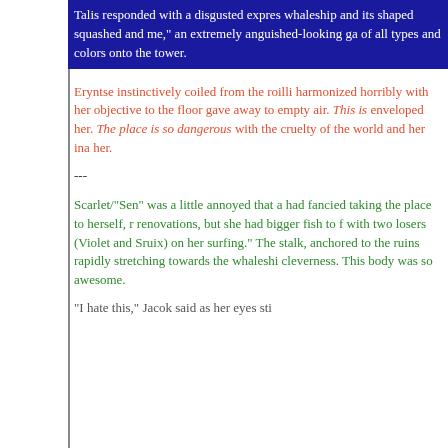Talis responded with a disgusted expression, whaleship and its shaped squashed and me," an extremely anguished-looking ga of all types and colors onto the tower.
Eryntse instinctively coiled from the roilli harmonized horribly with her objective to the floor gave away to empty air. This is enveloped her. The place is so dangerous with the cruelty of the world and her ina her.
---
Scarlet/"Sen" was a little annoyed that a had fancied taking the place to herself, r renovations, but she had bigger fish to f with two losers (Violet and Sruix) on her surfing." The stalk, anchored to the ruins rapidly stretching towards the whaleshi cleverness. This body was so awesome.
"I hate this," Jacok said as her eyes sti